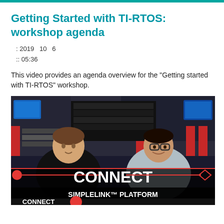Getting Started with TI-RTOS: workshop agenda
: 2019  10  6
:: 05:36
This video provides an agenda overview for the "Getting started with TI-RTOS" workshop.
[Figure (photo): Video thumbnail showing two presenters in a lab/studio setting with the text 'CONNECT' and 'SIMPLELINK™ PLATFORM' and 'CONNECT' overlaid on a dark background with red graphic elements.]